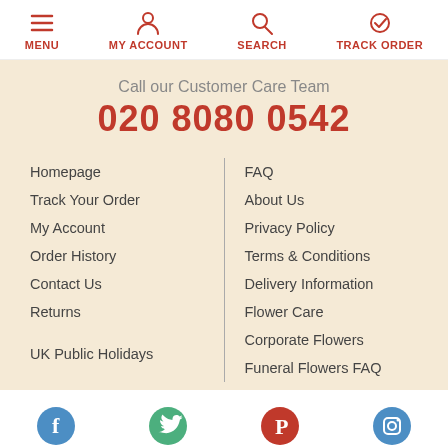MENU | MY ACCOUNT | SEARCH | TRACK ORDER
Call our Customer Care Team
020 8080 0542
Homepage
Track Your Order
My Account
Order History
Contact Us
Returns
UK Public Holidays
FAQ
About Us
Privacy Policy
Terms & Conditions
Delivery Information
Flower Care
Corporate Flowers
Funeral Flowers FAQ
Social media links: Facebook, Twitter, Pinterest, Instagram